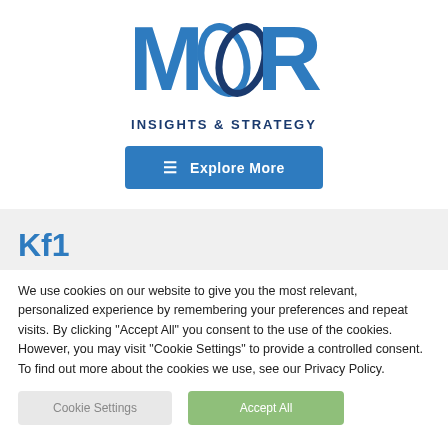[Figure (logo): Moor Insights & Strategy logo with stylized M and interlocking diamond/oval shapes in blue, with text 'INSIGHTS & STRATEGY' below]
[Figure (screenshot): Blue button with hamburger menu icon and text 'Explore More']
Kf1
We use cookies on our website to give you the most relevant, personalized experience by remembering your preferences and repeat visits. By clicking "Accept All" you consent to the use of the cookies. However, you may visit "Cookie Settings" to provide a controlled consent. To find out more about the cookies we use, see our Privacy Policy.
Cookie Settings  |  Accept All